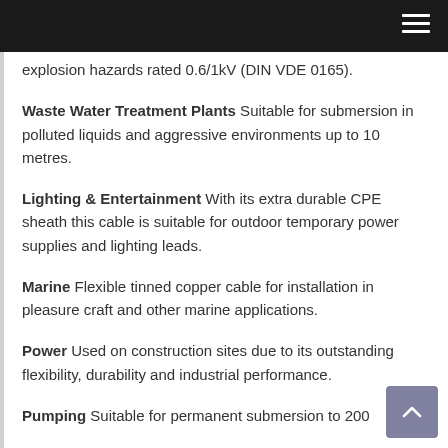explosion hazards rated 0.6/1kV (DIN VDE 0165).
Waste Water Treatment Plants Suitable for submersion in polluted liquids and aggressive environments up to 10 metres.
Lighting & Entertainment With its extra durable CPE sheath this cable is suitable for outdoor temporary power supplies and lighting leads.
Marine Flexible tinned copper cable for installation in pleasure craft and other marine applications.
Power Used on construction sites due to its outstanding flexibility, durability and industrial performance.
Pumping Suitable for permanent submersion to 200